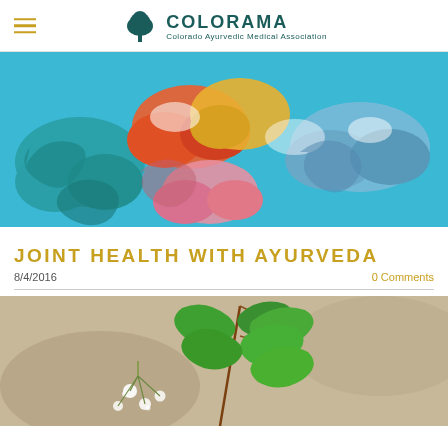COLORAMA — Colorado Ayurvedic Medical Association
[Figure (illustration): Colorful Tibetan/Ayurvedic style cloud painting on a sky-blue background. Swirling clouds in teal, orange-red, yellow, pink, blue, and white arranged decoratively.]
JOINT HEALTH WITH AYURVEDA
8/4/2016
0 Comments
[Figure (photo): Close-up photograph of green ginkgo leaves and small white lily-of-the-valley flowers on soft beige/brown background, suggesting herbal/natural medicine theme.]